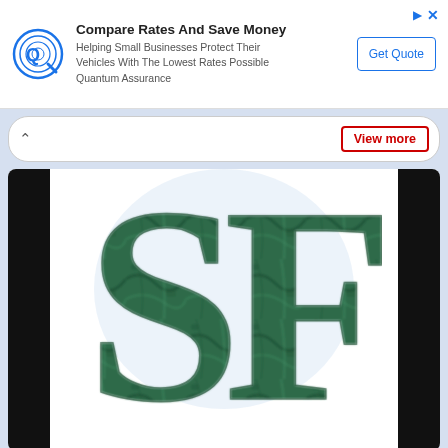[Figure (infographic): Ad banner: Quantum Assurance logo (Q with circular design), headline 'Compare Rates And Save Money', description 'Helping Small Businesses Protect Their Vehicles With The Lowest Rates Possible Quantum Assurance', and a 'Get Quote' button. Top-right has arrow and X icons.]
View more
[Figure (logo): Large green marble-textured letters 'SF' on white background, partially cropped, with black vertical bars on left and right sides.]